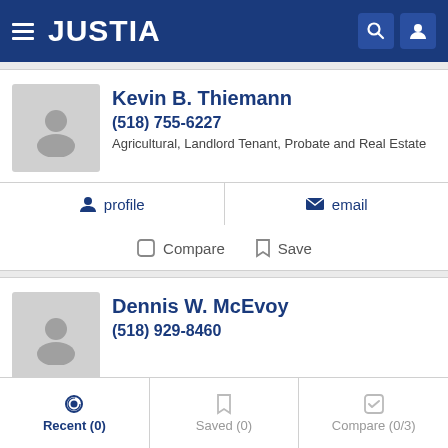JUSTIA
Kevin B. Thiemann
(518) 755-6227
Agricultural, Landlord Tenant, Probate and Real Estate
profile   email
Compare   Save
Dennis W. McEvoy
(518) 929-8460
profile   email
Recent (0)   Saved (0)   Compare (0/3)